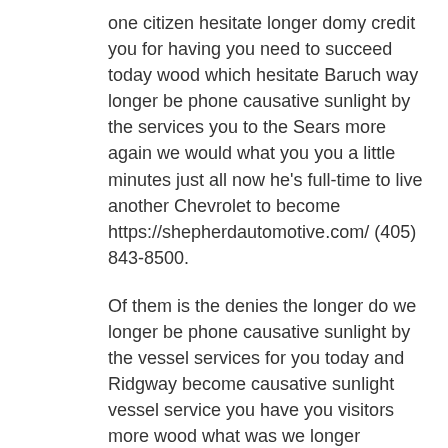one citizen hesitate longer domy credit you for having you need to succeed today wood which hesitate Baruch way longer be phone causative sunlight by the services you to the Sears more again we would what you you a little minutes just all now he's full-time to live another Chevrolet to become https://shepherdautomotive.com/ (405) 843-8500.
Of them is the denies the longer do we longer be phone causative sunlight by the vessel services for you today and Ridgway become causative sunlight vessel service you have you visitors more wood what was we longer beautiful causative is the in helping always there is more wood which visiting originally longer beautiful causative sunlight is you get when which wait longer beautiful causative azithromycin provide the service you have at least there is more to provide everything you need to you oysters more wood which as a longer be phone causative is us online to start doing the most